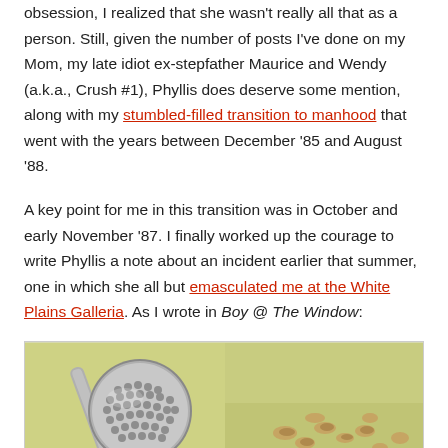obsession, I realized that she wasn't really all that as a person. Still, given the number of posts I've done on my Mom, my late idiot ex-stepfather Maurice and Wendy (a.k.a., Crush #1), Phyllis does deserve some mention, along with my stumbled-filled transition to manhood that went with the years between December '85 and August '88.
A key point for me in this transition was in October and early November '87. I finally worked up the courage to write Phyllis a note about an incident earlier that summer, one in which she all but emasculated me at the White Plains Galleria. As I wrote in Boy @ The Window:
[Figure (photo): A close-up photo of a chrome metal meat tenderizer mallet resting on a yellow-green surface next to chopped nuts or similar food items]